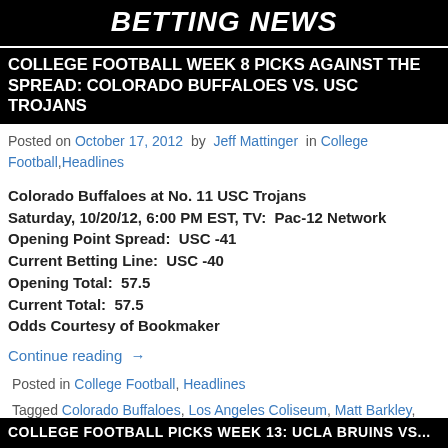BETTING NEWS
COLLEGE FOOTBALL WEEK 8 PICKS AGAINST THE SPREAD: COLORADO BUFFALOES VS. USC TROJANS
Posted on October 17, 2012 by Jeff Mattinger in College Football, Headlines
Colorado Buffaloes at No. 11 USC Trojans
Saturday, 10/20/12, 6:00 PM EST, TV: Pac-12 Network
Opening Point Spread: USC -41
Current Betting Line: USC -40
Opening Total: 57.5
Current Total: 57.5
Odds Courtesy of Bookmaker
Continue reading →
Posted in College Football, Headlines
Tagged Colorado Buffaloes, Los Angeles Coliseum, Matt Barkley, Pac-12 Conference, Silas Redd, USC Trojans
COLLEGE FOOTBALL PICKS WEEK 13: UCLA BRUINS VS...